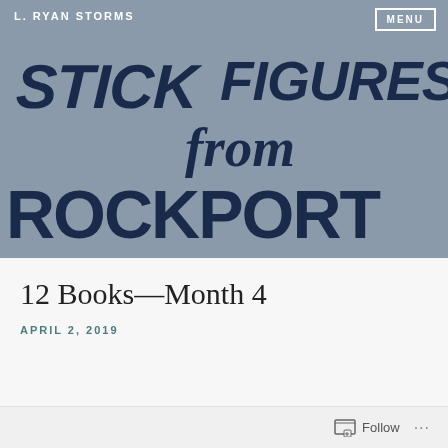L. RYAN STORMS
[Figure (illustration): Book cover image showing hand-lettered title 'Stick Figures from Rockport' in dark navy blue brush lettering on a gray background]
12 Books—Month 4
APRIL 2, 2019
Follow ...